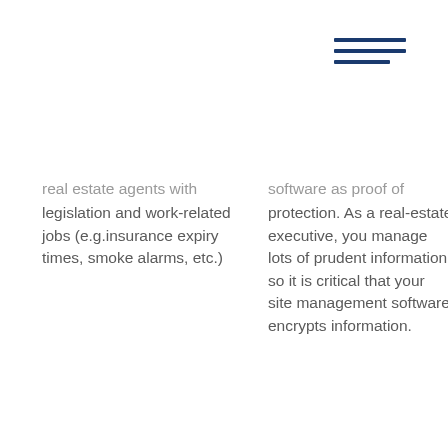[Figure (other): Hamburger menu icon made of three horizontal blue lines]
real estate agents with legislation and work-related jobs (e.g.insurance expiry times, smoke alarms, etc.)
software as proof of protection. As a real-estate executive, you manage lots of prudent information so it is critical that your site management software encrypts information.